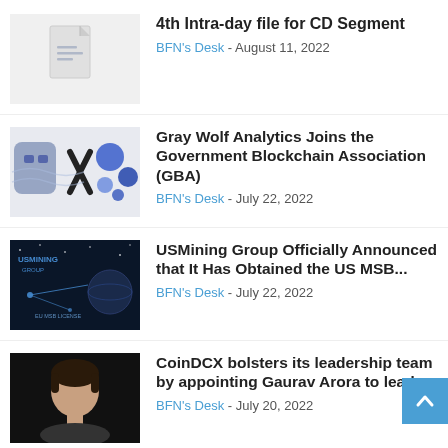[Figure (illustration): Gray document/file icon placeholder on light gray background]
4th Intra-day file for CD Segment
BFN's Desk - August 11, 2022
[Figure (illustration): Gray Wolf Analytics / Government Blockchain Association graphic showing robot/crypto/network imagery]
Gray Wolf Analytics Joins the Government Blockchain Association (GBA)
BFN's Desk - July 22, 2022
[Figure (photo): USMining Group dark promotional image with text 'EU MSB LICENSE']
USMining Group Officially Announced that It Has Obtained the US MSB...
BFN's Desk - July 22, 2022
[Figure (photo): Photo of Gaurav Arora, a man with dark hair against black background]
CoinDCX bolsters its leadership team by appointing Gaurav Arora to lead...
BFN's Desk - July 20, 2022